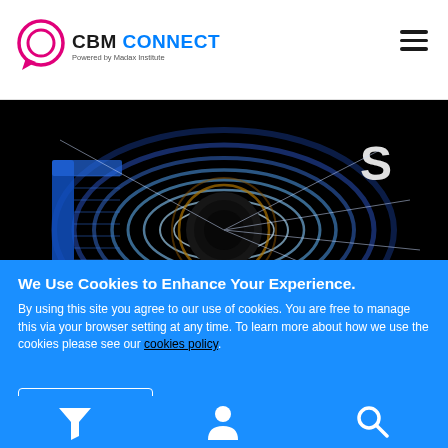[Figure (logo): CBM Connect logo with circular chat icon – Powered by Madax Institute]
[Figure (photo): Close-up photo of a magnet or motor component on black background, showing glowing blue/white circular light trails with red N and white S pole labels]
We Use Cookies to Enhance Your Experience.
By using this site you agree to our use of cookies. You are free to manage this via your browser setting at any time. To learn more about how we use the cookies please see our cookies policy.
Accept & Close